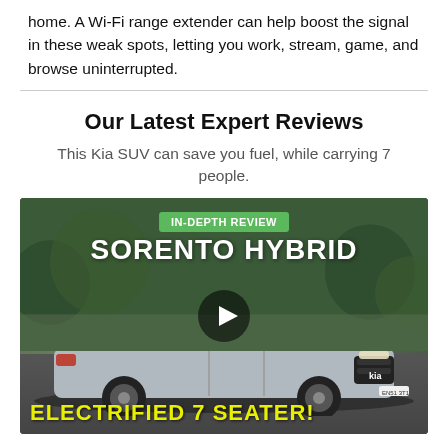home. A Wi-Fi range extender can help boost the signal in these weak spots, letting you work, stream, game, and browse uninterrupted.
Our Latest Expert Reviews
This Kia SUV can save you fuel, while carrying 7 people.
[Figure (photo): Video thumbnail image of a Kia Sorento Hybrid SUV driving on a road, with green badge reading IN-DEPTH REVIEW, large white text SORENTO HYBRID, a play button overlay, and yellow text at bottom reading ELECTRIFIED 7 SEATER!]